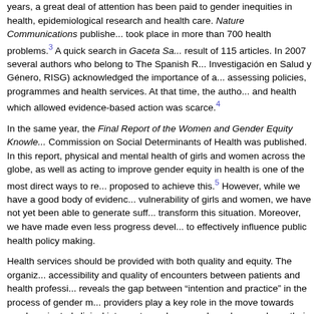years, a great deal of attention has been paid to gender inequities in health, epidemiological research and health care. Nature Communications published took place in more than 700 health problems.[3] A quick search in Gaceta Sa... result of 115 articles. In 2007 several authors who belong to The Spanish R... Investigación en Salud y Género, RISG) acknowledged the importance of a... assessing policies, programmes and health services. At that time, the autho... and health which allowed evidence-based action was scarce.[4]
In the same year, the Final Report of the Women and Gender Equity Knowle... Commission on Social Determinants of Health was published. In this report, physical and mental health of girls and women across the globe, as well as acting to improve gender equity in health is one of the most direct ways to r... proposed to achieve this.[5] However, while we have a good body of evidenc... vulnerability of girls and women, we have not yet been able to generate suff... transform this situation. Moreover, we have made even less progress devel... to effectively influence public health policy making.
Health services should be provided with both quality and equity. The organiz... accessibility and quality of encounters between patients and health professi... reveals the gap between "intention and practice" in the process of gender m... providers play a key role in the move towards gender oriented clinical interv... towards sex and gender can shape their behaviours and may bias the care educational interventions on gender-sensitivity have been implemented and Syndrome was first defined, few studies have described and evaluated inter... practice.[8] In the same line, after the Beijing Declaration and Platform for Ac... determinants of health -including gender and multisector programming- and Development, few policies have been formulated, implemented, or evaluate...
In the last year we have seen the lack of gender mainstreaming reflected in...